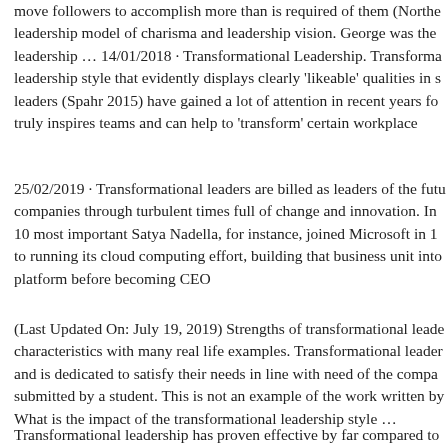move followers to accomplish more than is required of them (Northe leadership model of charisma and leadership vision. George was the leadership … 14/01/2018 · Transformational Leadership. Transforma leadership style that evidently displays clearly 'likeable' qualities in s leaders (Spahr 2015) have gained a lot of attention in recent years fo truly inspires teams and can help to 'transform' certain workplace
25/02/2019 · Transformational leaders are billed as leaders of the futu companies through turbulent times full of change and innovation. In 10 most important Satya Nadella, for instance, joined Microsoft in 1 to running its cloud computing effort, building that business unit into platform before becoming CEO
(Last Updated On: July 19, 2019) Strengths of transformational leade characteristics with many real life examples. Transformational leader and is dedicated to satisfy their needs in line with need of the compa submitted by a student. This is not an example of the work written by What is the impact of the transformational leadership style …
Transformational leadership has proven effective by far compared to